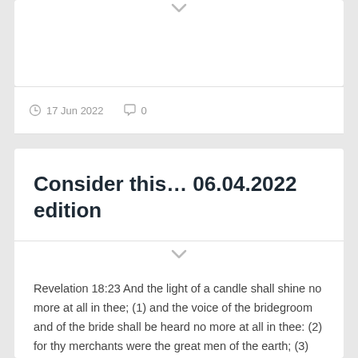17 Jun 2022   0
Consider this… 06.04.2022 edition
Revelation 18:23 And the light of a candle shall shine no more at all in thee; (1) and the voice of the bridegroom and of the bride shall be heard no more at all in thee: (2) for thy merchants were the great men of the earth; (3) for by thy sorceries (4) were all…
Continue Reading →